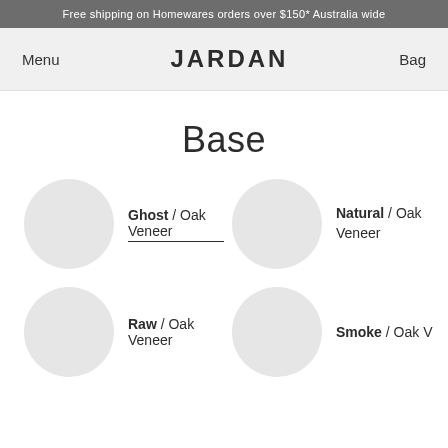Free shipping on Homewares orders over $150* Australia wide
Menu  JARDAN  Bag
Base
Ghost / Oak Veneer
Natural / Oak Veneer
Raw / Oak Veneer
Smoke / Oak V...